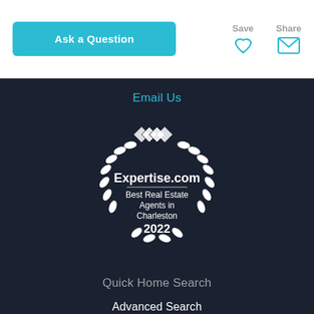Ask a Question
Save
Share
Email Us
[Figure (logo): Expertise.com badge: Best Real Estate Agents in Charleston 2022, white laurel wreath with diamond logo on dark background]
Quick Home Search
Advanced Search
Map Search
Property Tracker
Featured Neighborhoods